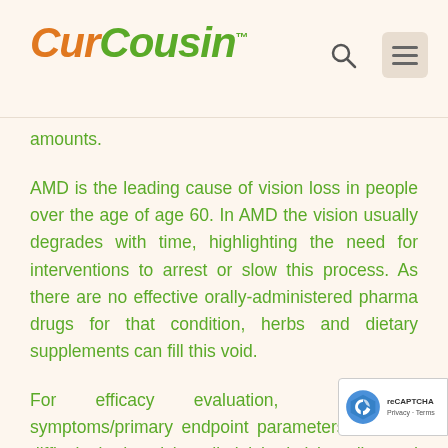CurCousin™
amounts.
AMD is the leading cause of vision loss in people over the age of age 60. In AMD the vision usually degrades with time, highlighting the need for interventions to arrest or slow this process. As there are no effective orally-administered pharma drugs for that condition, herbs and dietary supplements can fill this void.
For efficacy evaluation, subjective symptoms/primary endpoint parameters such as difficulty in day vision, diminished vision, distorted vision, perception of black spots, dark adaptation, perception of flashes of light, and perception of objects as yellowish were assessed. Objective